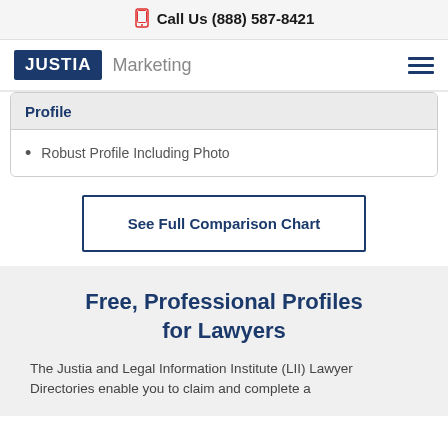Call Us (888) 587-8421
[Figure (logo): Justia Marketing logo with hamburger menu]
Profile
Robust Profile Including Photo
See Full Comparison Chart
Free, Professional Profiles for Lawyers
The Justia and Legal Information Institute (LII) Lawyer Directories enable you to claim and complete a